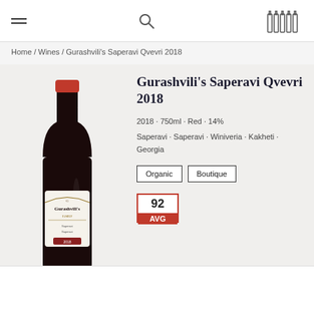≡  🔍  [bottles icon]
Home / Wines / Gurashvili's Saperavi Qvevri 2018
[Figure (photo): Wine bottle photo: Gurashvili's Saperavi Qvevri 2018, dark glass bottle with red wax cap and label reading Gurashvili's Family, Saperavi, 2018]
Gurashvili's Saperavi Qvevri 2018
2018 · 750ml · Red · 14%
Saperavi · Saperavi · Winiveria · Kakheti · Georgia
Organic  Boutique
92 AVG